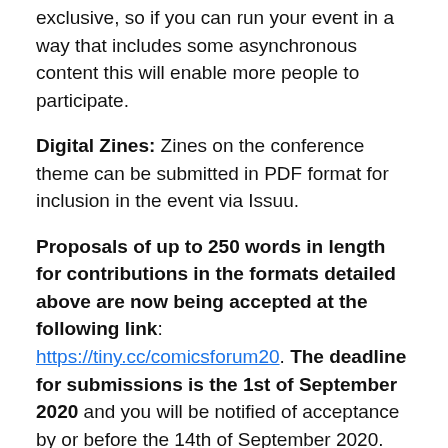exclusive, so if you can run your event in a way that includes some asynchronous content this will enable more people to participate.
Digital Zines: Zines on the conference theme can be submitted in PDF format for inclusion in the event via Issuu.
Proposals of up to 250 words in length for contributions in the formats detailed above are now being accepted at the following link: https://tiny.cc/comicsforum20. The deadline for submissions is the 1st of September 2020 and you will be notified of acceptance by or before the 14th of September 2020. Please include a short (100 word) biography with your proposal.
Comics Forum 2020 is part of the Thought Bubble